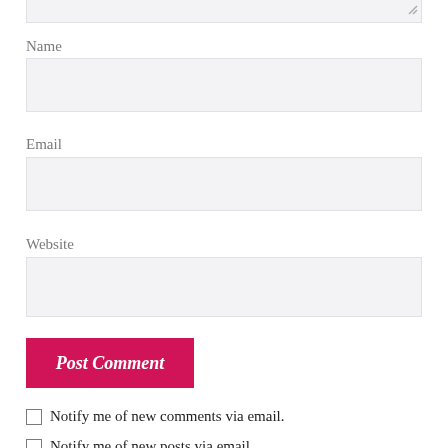[Figure (screenshot): Partial textarea stub at top of page with resize handle]
Name
[Figure (screenshot): Name input field (empty, light gray background)]
Email
[Figure (screenshot): Email input field (empty, light gray background)]
Website
[Figure (screenshot): Website input field (empty, light gray background)]
[Figure (screenshot): Post Comment button (crimson/deep pink background, italic bold white text)]
Notify me of new comments via email.
Notify me of new posts via email.